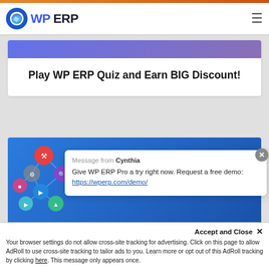WP ERP
Play WP ERP Quiz and Earn BIG Discount!
[Figure (screenshot): Blue promotional banner with colorful app/network icons on dark blue background]
Message from Cynthia
Give WP ERP Pro a try right now. Request a free demo: https://wperp.com/demo/
Accept and Close ✕
Your browser settings do not allow cross-site tracking for advertising. Click on this page to allow AdRoll to use cross-site tracking to tailor ads to you. Learn more or opt out of this AdRoll tracking by clicking here. This message only appears once.